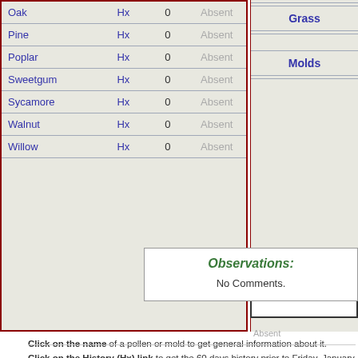| Name | Hx | Count | Level |
| --- | --- | --- | --- |
| Oak | Hx | 0 | Absent |
| Pine | Hx | 0 | Absent |
| Poplar | Hx | 0 | Absent |
| Sweetgum | Hx | 0 | Absent |
| Sycamore | Hx | 0 | Absent |
| Walnut | Hx | 0 | Absent |
| Willow | Hx | 0 | Absent |
Grass
Molds
Click on the name of a pollen or mold to get general information about it.
Click on the History (Hx) link to get the 60 days history prior to Friday, January 6, 2017.
Observations:
No Comments.